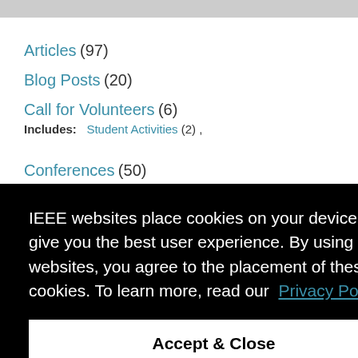Articles (97)
Blog Posts (20)
Call for Volunteers (6)
Includes: Student Activities (2) ,
Conferences (50)
Includes: Call for Papers (7) ,
IEEE websites place cookies on your device to give you the best user experience. By using our websites, you agree to the placement of these cookies. To learn more, read our Privacy Policy.
Accept & Close
(127) ,  Health & Medical (38) ,  Human Impacts (197) ,